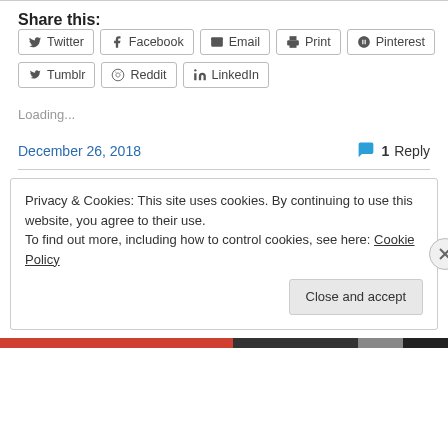Share this:
Twitter Facebook Email Print Pinterest Tumblr Reddit LinkedIn
Loading...
December 26, 2018
1 Reply
Privacy & Cookies: This site uses cookies. By continuing to use this website, you agree to their use.
To find out more, including how to control cookies, see here: Cookie Policy
Close and accept